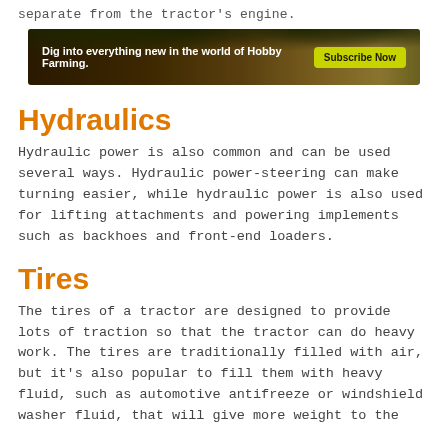separate from the tractor's engine.
[Figure (photo): Dark banner advertisement with trees silhouette background. Text reads: 'Dig into everything new in the world of Hobby Farming.' with a yellow-green 'Subscribe Now' button on the right.]
Hydraulics
Hydraulic power is also common and can be used several ways. Hydraulic power-steering can make turning easier, while hydraulic power is also used for lifting attachments and powering implements such as backhoes and front-end loaders.
Tires
The tires of a tractor are designed to provide lots of traction so that the tractor can do heavy work. The tires are traditionally filled with air, but it's also popular to fill them with heavy fluid, such as automotive antifreeze or windshield washer fluid, that will give more weight to the